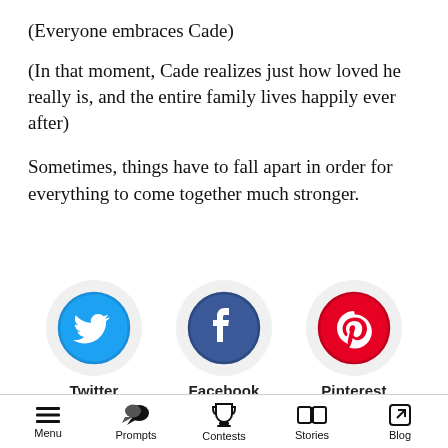(Everyone embraces Cade)
(In that moment, Cade realizes just how loved he really is, and the entire family lives happily ever after)
Sometimes, things have to fall apart in order for everything to come together much stronger.
[Figure (illustration): Three social media icons in circular grey backgrounds: Twitter (blue bird), Facebook (dark blue f), Pinterest (red P). Labels below each: Twitter, Facebook, Pinterest.]
Menu  Prompts  Contests  Stories  Blog